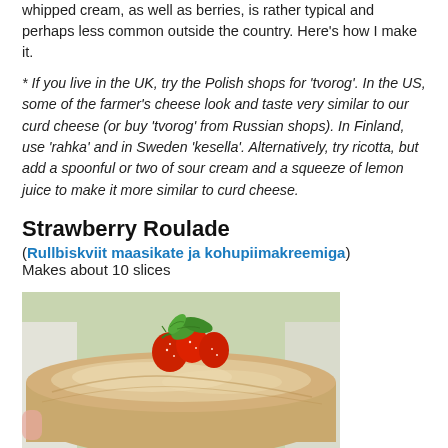whipped cream, as well as berries, is rather typical and perhaps less common outside the country. Here's how I make it.
* If you live in the UK, try the Polish shops for 'tvorog'. In the US, some of the farmer's cheese look and taste very similar to our curd cheese (or buy 'tvorog' from Russian shops). In Finland, use 'rahka' and in Sweden 'kesella'. Alternatively, try ricotta, but add a spoonful or two of sour cream and a squeeze of lemon juice to make it more similar to curd cheese.
Strawberry Roulade
(Rullbiskviit maasikate ja kohupiimakreemiga)
Makes about 10 slices
[Figure (photo): Close-up photo of a strawberry roulade (Swiss roll) dusted with powdered sugar, topped with fresh strawberries and mint leaves, on a white background.]